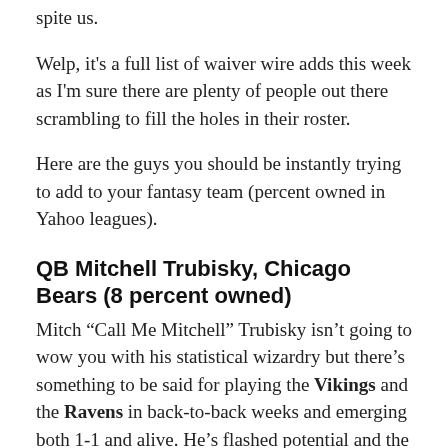spite us.
Welp, it's a full list of waiver wire adds this week as I'm sure there are plenty of people out there scrambling to fill the holes in their roster.
Here are the guys you should be instantly trying to add to your fantasy team (percent owned in Yahoo leagues).
QB Mitchell Trubisky, Chicago Bears (8 percent owned)
Mitch “Call Me Mitchell” Trubisky isn’t going to wow you with his statistical wizardry but there’s something to be said for playing the Vikings and the Ravens in back-to-back weeks and emerging both 1-1 and alive. He’s flashed potential and the Bears now head into their bye, giving John Fox and company a whole extra week